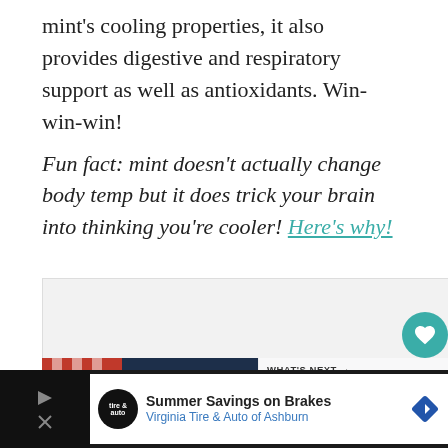mint's cooling properties, it also provides digestive and respiratory support as well as antioxidants. Win-win-win!
Fun fact: mint doesn't actually change body temp but it does trick your brain into thinking you're cooler! Here's why!
[Figure (screenshot): Screenshot UI elements: heart/like button (teal circle with heart icon, count 23), share button, 'UPLIFT MINORITY OWNED BUSINESSES' ad banner (dark navy), 'WHAT'S NEXT' panel showing 'How to Prepare you...', bottom ad strip for 'Summer Savings on Brakes - Virginia Tire & Auto of Ashburn' with logo and close button.]